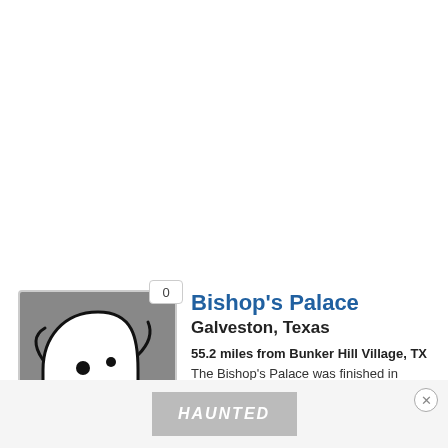[Figure (illustration): Ghost cartoon icon on grey background with badge showing 0]
Bishop's Palace
Galveston, Texas
55.2 miles from Bunker Hill Village, TX
The Bishop's Palace was finished in 1893, and was survived the Great Hurricane of 1900. Rumour has it the protective former owner, Walter Gresham, still haunts the place, and has been known to appear during freak weather events. Witnesses say his spirit appears agitated, pacing back and forth across ...
Read more »
[Figure (logo): HAUNTED text logo on grey background]